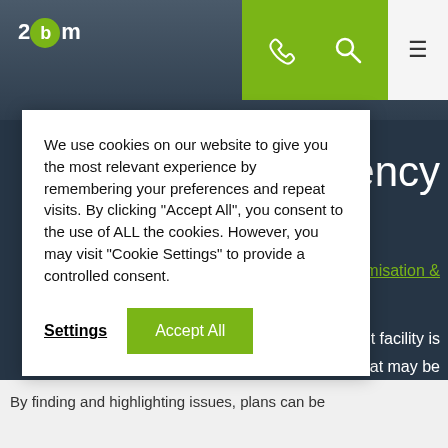[Figure (screenshot): Website header with dark tinted hero image showing someone cleaning a floor with green tool. Logo '2bm' with green circle on top left. Green navigation bar with phone and search icons, and hamburger menu on right.]
Efficiency
optimisation &
ent facility is
es that may be
We use cookies on our website to give you the most relevant experience by remembering your preferences and repeat visits. By clicking "Accept All", you consent to the use of ALL the cookies. However, you may visit "Cookie Settings" to provide a controlled consent.
Settings
Accept All
By finding and highlighting issues, plans can be